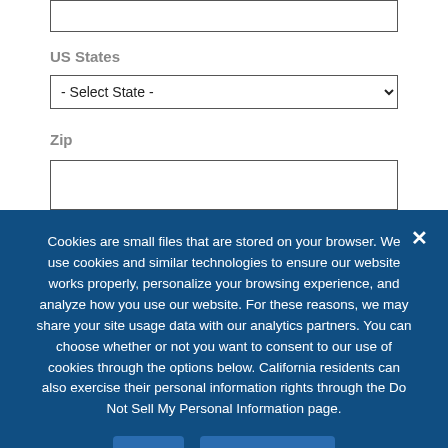US States
- Select State -
Zip
Cookies are small files that are stored on your browser. We use cookies and similar technologies to ensure our website works properly, personalize your browsing experience, and analyze how you use our website. For these reasons, we may share your site usage data with our analytics partners. You can choose whether or not you want to consent to our use of cookies through the options below. California residents can also exercise their personal information rights through the Do Not Sell My Personal Information page.
Ok
Privacy policy